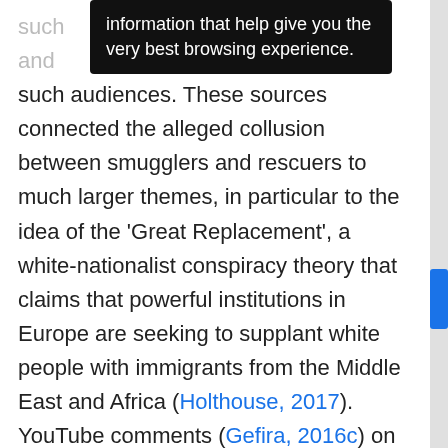[Figure (screenshot): Dark tooltip/popup overlay with white text: 'information that help give you the very best browsing experience.']
such audiences. These sources connected the alleged collusion between smugglers and rescuers to much larger themes, in particular to the idea of the 'Great Replacement', a white-nationalist conspiracy theory that claims that powerful institutions in Europe are seeking to supplant white people with immigrants from the Middle East and Africa (Holthouse, 2017). YouTube comments (Gefira, 2016c) on it illustrate the extreme conclusions drawn by some of its viewers: 'When will European people rise up and fight this before their continent is